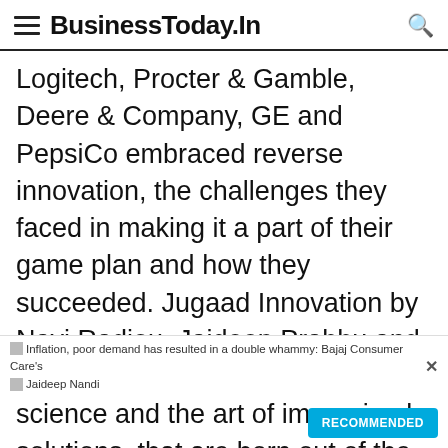BusinessToday.In
Logitech, Procter & Gamble, Deere & Company, GE and PepsiCo embraced reverse innovation, the challenges they faced in making it a part of their game plan and how they succeeded. Jugaad Innovation by Navi Radjou, Jaideep Prabhu and Simone Ahuja explores the science and the art of improvised solutions, that are born out of the ingenuity of doing more with less - something that is commonly practised in emerging economies. The authors say MNCs can leverage it to achieve breakthrough growth strategies globally. In their view the costly, resource consuming structured approach to research and
Inflation, poor demand has resulted in a double whammy: Bajaj Consumer Care's Jaideep Nandi